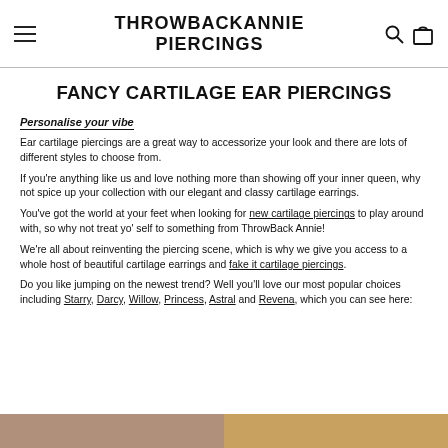THROWBACKANNIE PIERCINGS
FANCY CARTILAGE EAR PIERCINGS
Personalise your vibe
Ear cartilage piercings are a great way to accessorize your look and there are lots of different styles to choose from.
If you're anything like us and love nothing more than showing off your inner queen, why not spice up your collection with our elegant and classy cartilage earrings.
You've got the world at your feet when looking for new cartilage piercings to play around with, so why not treat yo' self to something from ThrowBack Annie!
We're all about reinventing the piercing scene, which is why we give you access to a whole host of beautiful cartilage earrings and fake it cartilage piercings.
Do you like jumping on the newest trend? Well you'll love our most popular choices including Starry, Darcy, Willow, Princess, Astral and Revena, which you can see here:
[Figure (photo): Two partial photo thumbnails visible at bottom of page showing jewelry/piercing products]